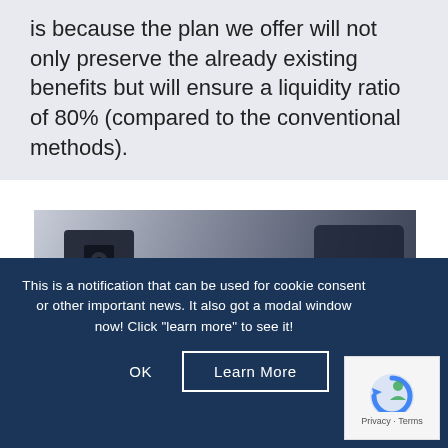is because the plan we offer will not only preserve the already existing benefits but will ensure a liquidity ratio of 80% (compared to the conventional methods).
[Figure (photo): Close-up photo of keys hanging from a lock/keyhole on a door, with a blurred dark background. The keys are metallic and on a ring.]
This is a notification that can be used for cookie consent or other important news. It also got a modal window now! Click "learn more" to see it!